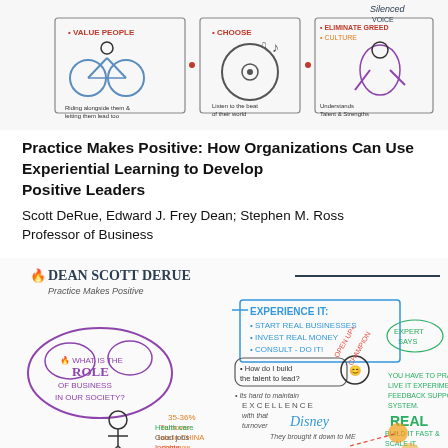[Figure (illustration): Sketchnote illustration showing three illustrated panels with hand-drawn figures, bicycles, musical notes, and a running figure with text annotations about leadership and people.]
Practice Makes Positive: How Organizations Can Use Experiential Learning to Develop Positive Leaders
Scott DeRue, Edward J. Frey Dean; Stephen M. Ross Professor of Business
[Figure (illustration): Sketchnote illustration for Dean Scott DeRue's talk 'Practice Makes Positive'. Contains hand-drawn elements including: a cloud with 'What is the Role of Business in Our Society?', 'Experience It: Start Real Businesses, Invest Real Money, Consult - Do It!', a figure asking 'How do I build the talent to lead?', references to Disney, Culture & Retention, 35-36% turnover rate in China, health care, good jobs, income, Expert Says, Open Up Champion, Real Build It Fast & Scale It., and You Have to Practice Live It Experiment Feedback Support System.]